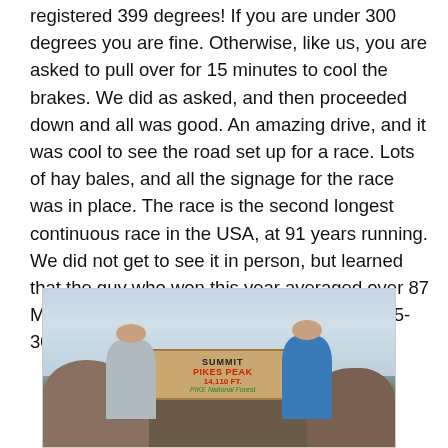registered 399 degrees! If you are under 300 degrees you are fine. Otherwise, like us, you are asked to pull over for 15 minutes to cool the brakes. We did as asked, and then proceeded down and all was good. An amazing drive, and it was cool to see the road set up for a race. Lots of hay bales, and all the signage for the race was in place. The race is the second longest continuous race in the USA, at 91 years running. We did not get to see it in person, but learned that the guy who won this year averaged over 87 MPH! We did most of the course portion at 25-30 MPH, and that was scary enough.
[Figure (photo): Two people standing in front of a Summit Pikes Peak 14,110 Ft. Pike National Forest sign, with rocky terrain and cloudy sky in the background.]